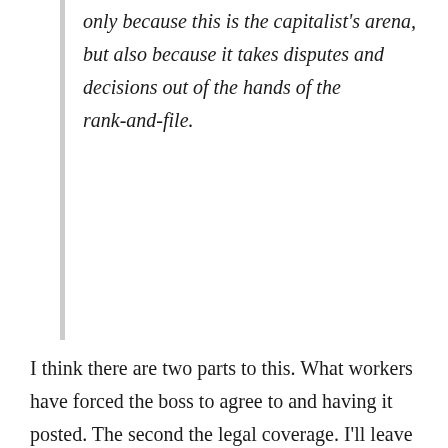only because this is the capitalist's arena, but also because it takes disputes and decisions out of the hands of the rank-and-file.
I think there are two parts to this. What workers have forced the boss to agree to and having it posted. The second the legal coverage. I'll leave the latter aside for now. Because I don't see having posted a what was agreed to posted on a bulletin board as contractualism. And, in IWW shops, as i understand it, this was also practiced. I guess I have a hard time with there being a feeling that anything that is written is a